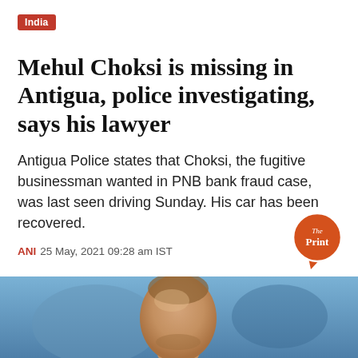India
Mehul Choksi is missing in Antigua, police investigating, says his lawyer
Antigua Police states that Choksi, the fugitive businessman wanted in PNB bank fraud case, was last seen driving Sunday. His car has been recovered.
ANI 25 May, 2021 09:28 am IST
[Figure (logo): The Print logo — orange circular speech-bubble shaped logo with white text 'The Print']
[Figure (photo): Close-up photo of a person's head and face, partially cropped, with a blue/purple background]